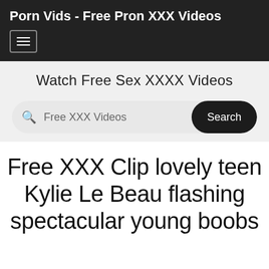Porn Vids - Free Pron XXX Videos
Watch Free Sex XXXX Videos
[Figure (screenshot): Search bar with placeholder text 'Free XXX Videos' and a dark 'Search' button]
Free XXX Clip lovely teen Kylie Le Beau flashing spectacular young boobs